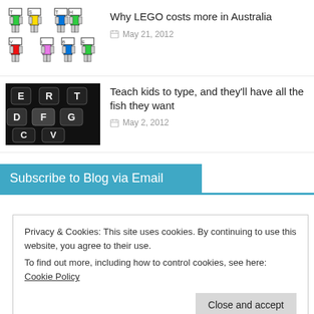[Figure (illustration): LEGO-style robot figures with colored torsos arranged in two rows with letter blocks]
Why LEGO costs more in Australia
May 21, 2012
[Figure (photo): Close-up black and white photo of computer keyboard keys showing E, R, T, D, F, G, C, V]
Teach kids to type, and they'll have all the fish they want
May 2, 2012
Subscribe to Blog via Email
Privacy & Cookies: This site uses cookies. By continuing to use this website, you agree to their use.
To find out more, including how to control cookies, see here: Cookie Policy
Close and accept
Subscribe